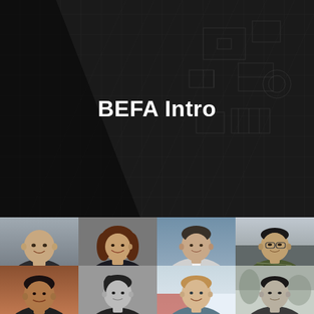[Figure (photo): Dark hero banner with blueprint/technical drawing background and a pen/pencil diagonal across it, overlaid with the title 'BEFA Intro' in large white bold text centered in the image]
BEFA Intro
[Figure (photo): Grid of 8 headshot photos of instructors/professors arranged in 2 rows of 4: Row 1: bald man (gray background), woman with brown hair (smiling), man in suit (office background), Asian man in plaid shirt; Row 2: man (partial), young man in black and white, man with light hair (outdoor background), Asian man in black and white]